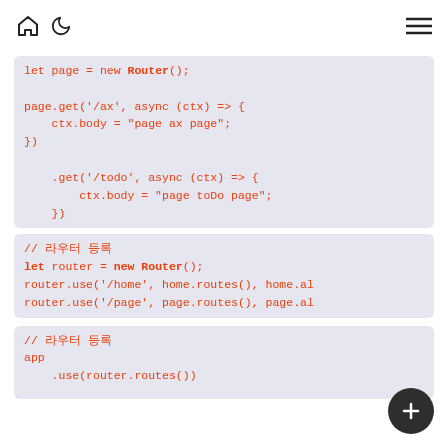Home icon, Moon icon, Hamburger menu
let page = new Router(); (partial, truncated at top)
page.get('/ax', async (ctx) => {
    ctx.body = "page ax page";
})
.get('/todo', async (ctx) => {
        ctx.body = "page toDo page";
    })
// 라우터 등록
let router = new Router();
router.use('/home', home.routes(), home.al
router.use('/page', page.routes(), page.al
// 라우터 등록
app
    .use(router.routes())